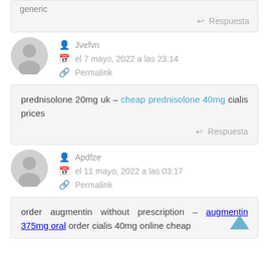generic
Respuesta
Jvefvn
el 7 mayo, 2022 a las 23:14
Permalink
prednisolone 20mg uk – cheap prednisolone 40mg cialis prices
Respuesta
Apdfze
el 11 mayo, 2022 a las 03:17
Permalink
order augmentin without prescription – augmentin 375mg oral order cialis 40mg online cheap